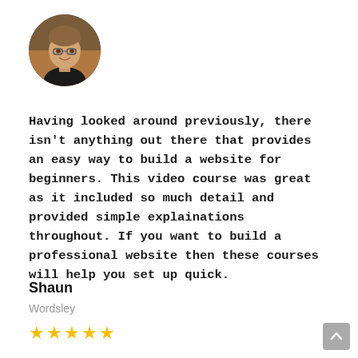[Figure (photo): Circular profile photo of a young man with glasses and a smile, wearing a dark shirt, against a warm background.]
Having looked around previously, there isn't anything out there that provides an easy way to build a website for beginners. This video course was great as it included so much detail and provided simple explainations throughout. If you want to build a professional website then these courses will help you set up quick.
Shaun
Wordsley
[Figure (other): Five filled yellow star rating icons.]